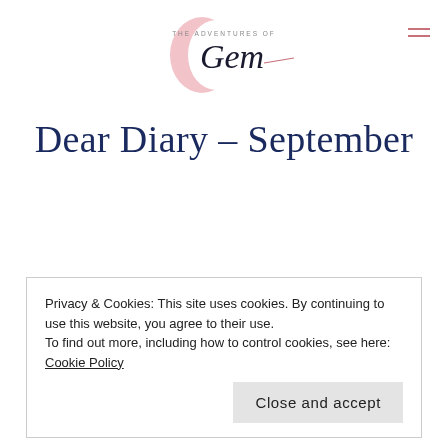The Adventures of Gem
Dear Diary – September
Privacy & Cookies: This site uses cookies. By continuing to use this website, you agree to their use.
To find out more, including how to control cookies, see here: Cookie Policy
Close and accept